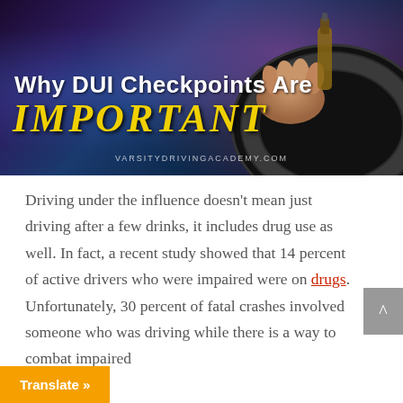[Figure (photo): A person driving a car while holding a bottle, with colorful neon lighting in background. Text overlay reads 'Why DUI Checkpoints Are IMPORTANT' and 'VARSITYDRIVINGACADEMY.COM']
Driving under the influence doesn't mean just driving after a few drinks, it includes drug use as well. In fact, a recent study showed that 14 percent of active drivers who were impaired were on drugs. Unfortunately, 30 percent of fatal crashes involved someone who was driving while there is a way to combat impaired